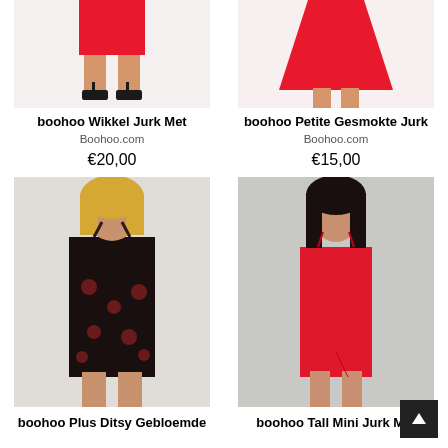[Figure (photo): Cropped photo showing legs and bottom of a red mini dress with black heels on a white background]
boohoo Wikkel Jurk Met
Boohoo.com
€20,00
[Figure (photo): Cropped photo showing bottom half of a red flared/skater skirt on a white background]
boohoo Petite Gesmokte Jurk
Boohoo.com
€15,00
[Figure (photo): Full portrait photo of a plus-size woman wearing a black floral mini dress with thin straps on a light grey background]
boohoo Plus Ditsy Gebloemde
[Figure (photo): Full portrait photo of a woman with long dark hair wearing a red strappy mini dress on a grey background]
boohoo Tall Mini Jurk Met